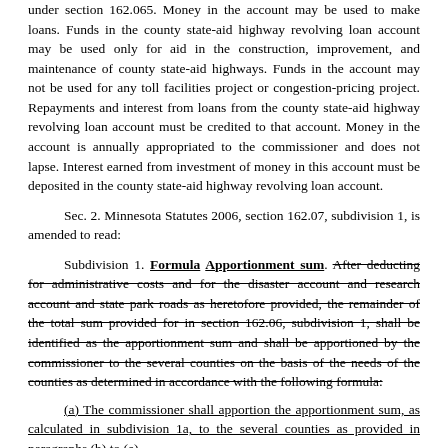under section 162.065. Money in the account may be used to make loans. Funds in the county state-aid highway revolving loan account may be used only for aid in the construction, improvement, and maintenance of county state-aid highways. Funds in the account may not be used for any toll facilities project or congestion-pricing project. Repayments and interest from loans from the county state-aid highway revolving loan account must be credited to that account. Money in the account is annually appropriated to the commissioner and does not lapse. Interest earned from investment of money in this account must be deposited in the county state-aid highway revolving loan account.
Sec. 2. Minnesota Statutes 2006, section 162.07, subdivision 1, is amended to read:
Subdivision 1. Formula Apportionment sum. After deducting for administrative costs and for the disaster account and research account and state park roads as heretofore provided, the remainder of the total sum provided for in section 162.06, subdivision 1, shall be identified as the apportionment sum and shall be apportioned by the commissioner to the several counties on the basis of the needs of the counties as determined in accordance with the following formula:
(a) The commissioner shall apportion the apportionment sum, as calculated in subdivision 1a, to the several counties as provided in paragraphs (b) to (e).
(a) (b) An amount equal to ten percent of the apportionment sum shall be apportioned equally among the 87 counties.
(b) (c) An amount equal to ten percent of the apportionment sum shall be